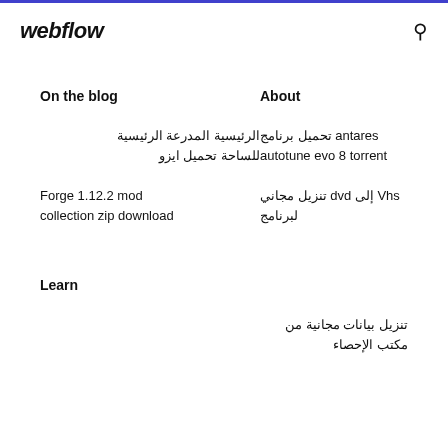webflow
On the blog
About
الرئيسية المدرعة الرئيسية للساحة تحميل ايزو
تحميل برنامج antares autotune evo 8 torrent
Forge 1.12.2 mod collection zip download
تنزيل مجاني dvd إلى Vhs لبرنامج
Learn
تنزيل بيانات مجانية من مكتب الإحصاء